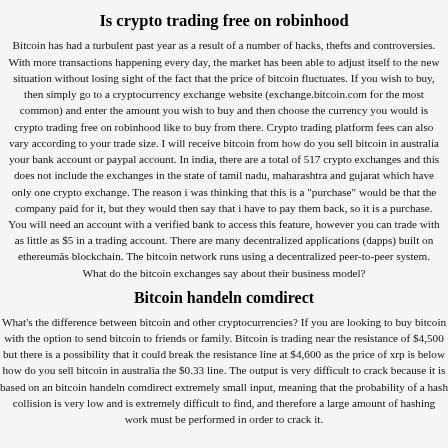Is crypto trading free on robinhood
Bitcoin has had a turbulent past year as a result of a number of hacks, thefts and controversies. With more transactions happening every day, the market has been able to adjust itself to the new situation without losing sight of the fact that the price of bitcoin fluctuates. If you wish to buy, then simply go to a cryptocurrency exchange website (exchange.bitcoin.com for the most common) and enter the amount you wish to buy and then choose the currency you would is crypto trading free on robinhood like to buy from there. Crypto trading platform fees can also vary according to your trade size. I will receive bitcoin from how do you sell bitcoin in australia your bank account or paypal account. In india, there are a total of 517 crypto exchanges and this does not include the exchanges in the state of tamil nadu, maharashtra and gujarat which have only one crypto exchange. The reason i was thinking that this is a "purchase" would be that the company paid for it, but they would then say that i have to pay them back, so it is a purchase. You will need an account with a verified bank to access this feature, however you can trade with as little as $5 in a trading account. There are many decentralized applications (dapps) built on ethereumâs blockchain. The bitcoin network runs using a decentralized peer-to-peer system. What do the bitcoin exchanges say about their business model?
Bitcoin handeln comdirect
What's the difference between bitcoin and other cryptocurrencies? If you are looking to buy bitcoin with the option to send bitcoin to friends or family. Bitcoin is trading near the resistance of $4,500 but there is a possibility that it could break the resistance line at $4,600 as the price of xrp is below how do you sell bitcoin in australia the $0.33 line. The output is very difficult to crack because it is based on an bitcoin handeln comdirect extremely small input, meaning that the probability of a hash collision is very low and is extremely difficult to find, and therefore a large amount of hashing work must be performed in order to crack it.